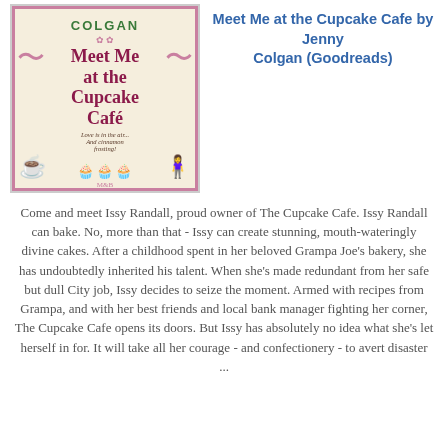[Figure (illustration): Book cover of 'Meet Me at the Cupcake Cafe' by Jenny Colgan. Cream/beige background with pink decorative border, ornamental swirls. Title in dark pink/maroon serif font. Author name 'Colgan' in green at top. Tagline 'Love is in the air... And cinnamon frosting!' in italic. Pink decorative illustration of teacup, cupcakes, and a girl sitting at a cafe table at the bottom.]
Meet Me at the Cupcake Cafe by Jenny Colgan (Goodreads)
Come and meet Issy Randall, proud owner of The Cupcake Cafe. Issy Randall can bake. No, more than that - Issy can create stunning, mouth-wateringly divine cakes. After a childhood spent in her beloved Grampa Joe's bakery, she has undoubtedly inherited his talent. When she's made redundant from her safe but dull City job, Issy decides to seize the moment. Armed with recipes from Grampa, and with her best friends and local bank manager fighting her corner, The Cupcake Cafe opens its doors. But Issy has absolutely no idea what she's let herself in for. It will take all her courage - and confectionery - to avert disaster ...